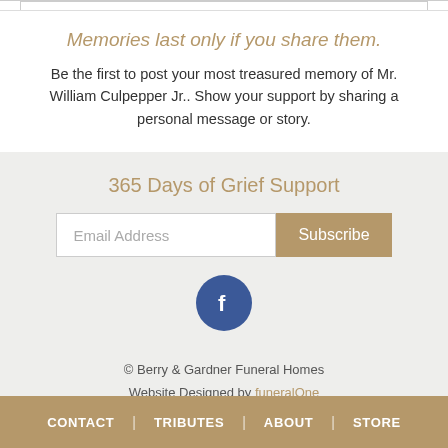Memories last only if you share them.
Be the first to post your most treasured memory of Mr. William Culpepper Jr.. Show your support by sharing a personal message or story.
365 Days of Grief Support
[Figure (other): Email subscription form with text field labeled 'Email Address' and a tan 'Subscribe' button]
[Figure (other): Facebook social media icon - dark blue circle with white 'f' logo]
© Berry & Gardner Funeral Homes
Website Designed by funeralOne
CONTACT | TRIBUTES | ABOUT | STORE